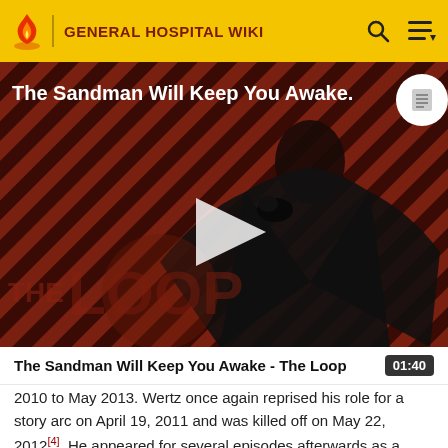GENERAL HOSPITAL WIKI
[Figure (screenshot): Video thumbnail for 'The Sandman Will Keep You Awake - The Loop' showing a dark-clad figure against a diagonal striped red/dark background with a play button overlay and 'THE LOOP' watermark.]
The Sandman Will Keep You Awake - The Loop  01:40
2010 to May 2013. Wertz once again reprised his role for a story arc on April 19, 2011 and was killed off on May 22, 2012[4]. He appeared for several episodes afterwards as a hallucination. He made his final appearance on July 26,